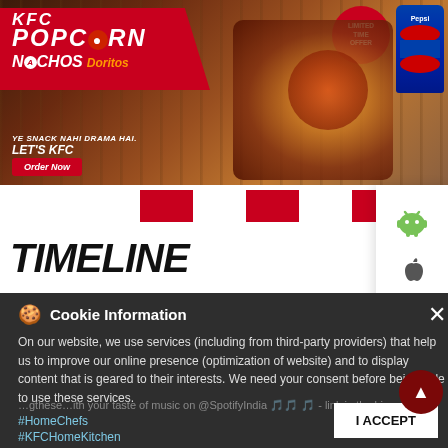[Figure (photo): KFC Popcorn Nachos Doritos advertisement banner with food imagery, Pepsi drink, and red ribbon logo. Text: 'KFC POPCORN NACHOS Doritos', 'YE SNACK NAHI DRAMA HAI. LET'S KFC', 'Order Now', 'LIMITED TIME OFFER']
[Figure (screenshot): Three red square boxes in a row below the KFC banner, with Android and Apple app download icons on the right side panel]
TIMELINE
Cookie Information

On our website, we use services (including from third-party providers) that help us to improve our online presence (optimization of website) and to display content that is geared to their interests. We need your consent before being able to use these services.
...gthese...ith your taste of music on @SpotifyIndia 🎵🎵 🎵 - link in the bio
#HomeChefs
#KFCHomeKitchen